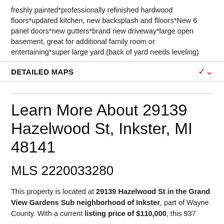freshly painted*professionally refinished hardwood floors*updated kitchen, new backsplash and flloors*New 6 panel doors*new gutters*brand new driveway*large open basement, great for additional family room or entertaining*super large yard (back of yard needs leveling)
DETAILED MAPS
Learn More About 29139 Hazelwood St, Inkster, MI 48141
MLS 2220033280
This property is located at 29139 Hazelwood St in the Grand View Gardens Sub neighborhood of Inkster, part of Wayne County. With a current listing price of $110,000, this 937